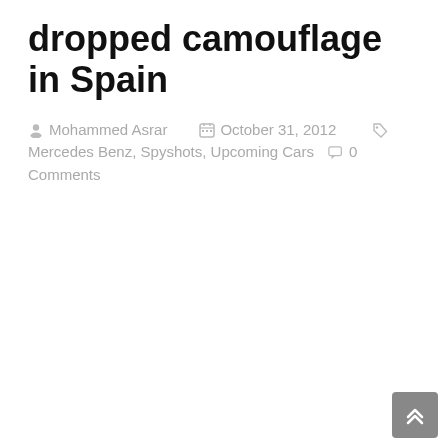dropped camouflage in Spain
Mohammed Asrar   October 31, 2012   Mercedes Benz, Spyshots, Upcoming Cars   0 Comments